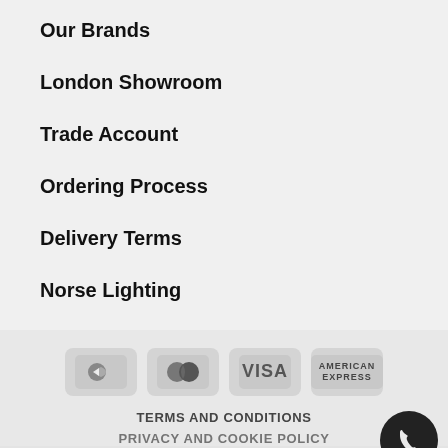Our Brands
London Showroom
Trade Account
Ordering Process
Delivery Terms
Norse Lighting
[Figure (other): Payment method icons: Sage Pay, Mastercard, Visa, American Express]
TERMS AND CONDITIONS
PRIVACY AND COOKIE POLICY
© Copyright 20... Registered Trademark.